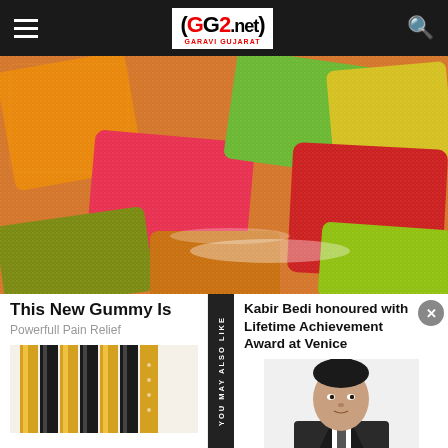GG2.net - GARAVI GUJARAT
[Figure (photo): Colorful sugar-coated gummy candy pieces in orange, red, green, and yellow colors arranged together]
This New Gummy Is
Powerfull Pain Relief
YOU MAY ALSO LIKE
Kabir Bedi honoured with Lifetime Achievement Award at Venice
[Figure (photo): Close-up of gold and black striped cylindrical objects (possibly pen or cosmetic product)]
[Figure (photo): Portrait of a man in a suit from chest up, dark hair, light background]